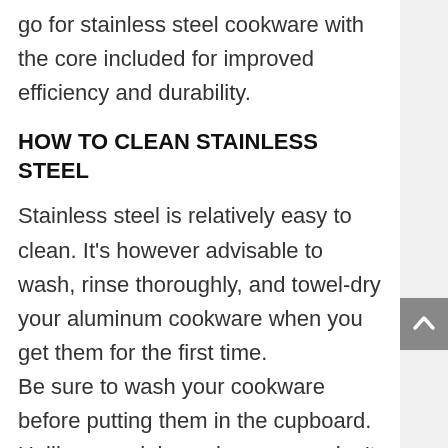go for stainless steel cookware with the core included for improved efficiency and durability.
HOW TO CLEAN STAINLESS STEEL
Stainless steel is relatively easy to clean. It’s however advisable to wash, rinse thoroughly, and towel-dry your aluminum cookware when you get them for the first time.
Be sure to wash your cookware before putting them in the cupboard.  Unlike porcelain cookware, you don’t need to